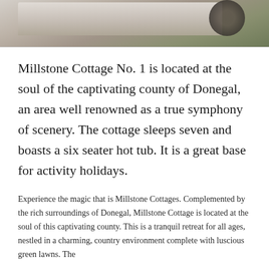[Figure (photo): Partial view of Millstone Cottage exterior, showing a white building with a dark circular object (possibly a barrel or planter) visible at top right. Photo is cropped showing only the upper portion.]
Millstone Cottage No. 1 is located at the soul of the captivating county of Donegal, an area well renowned as a true symphony of scenery. The cottage sleeps seven and boasts a six seater hot tub. It is a great base for activity holidays.
Experience the magic that is Millstone Cottages. Complemented by the rich surroundings of Donegal, Millstone Cottage is located at the soul of this captivating county. This is a tranquil retreat for all ages, nestled in a charming, country environment complete with luscious green lawns. The